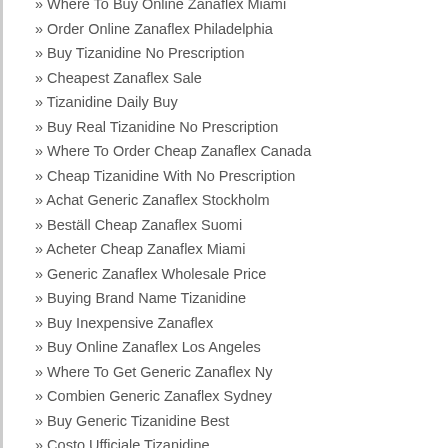» Where To Buy Online Zanaflex Miami
» Order Online Zanaflex Philadelphia
» Buy Tizanidine No Prescription
» Cheapest Zanaflex Sale
» Tizanidine Daily Buy
» Buy Real Tizanidine No Prescription
» Where To Order Cheap Zanaflex Canada
» Cheap Tizanidine With No Prescription
» Achat Generic Zanaflex Stockholm
» Beställ Cheap Zanaflex Suomi
» Acheter Cheap Zanaflex Miami
» Generic Zanaflex Wholesale Price
» Buying Brand Name Tizanidine
» Buy Inexpensive Zanaflex
» Buy Online Zanaflex Los Angeles
» Where To Get Generic Zanaflex Ny
» Combien Generic Zanaflex Sydney
» Buy Generic Tizanidine Best
» Costo Ufficiale Tizanidine